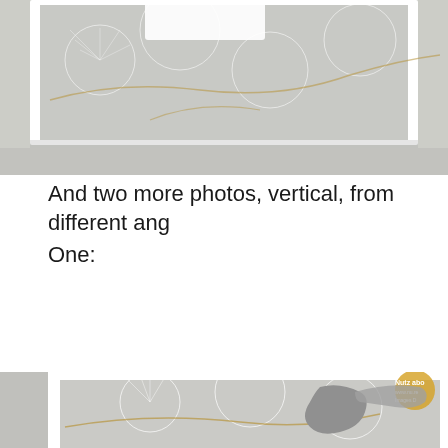[Figure (photo): Top portion of a handmade greeting card showing floral/botanical patterned paper in grey and white with gold branch details, viewed from above, with white frame]
And two more photos, vertical, from different ang
One:
[Figure (photo): Handmade greeting card displayed vertically at an angle, featuring a grey heron/crane bird die-cut with white wings, on grey botanical patterned background with white dandelion/fan shapes and gold branches. Sentiment banner reads 'Wishing a lifetime of HAPPINESS & a world full of LOVE'. A Nutz About Stamping watermark is visible in the upper right corner.]